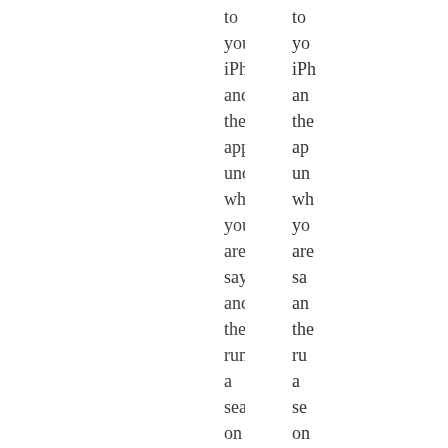to you iPhone and the app under when you are saying and the run a search on Google. If